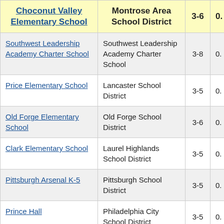| Choconut Valley Elementary School | Montrose Area School District | 3-6 | 0. |
| --- | --- | --- | --- |
| Southwest Leadership Academy Charter School | Southwest Leadership Academy Charter School | 3-8 | 0. |
| Price Elementary School | Lancaster School District | 3-5 | 0. |
| Old Forge Elementary School | Old Forge School District | 3-6 | 0. |
| Clark Elementary School | Laurel Highlands School District | 3-5 | 0. |
| Pittsburgh Arsenal K-5 | Pittsburgh School District | 3-5 | 0. |
| Prince Hall | Philadelphia City School District | 3-5 | 0. |
| Welsh John School | Philadelphia City School District | 3-7 | 0. |